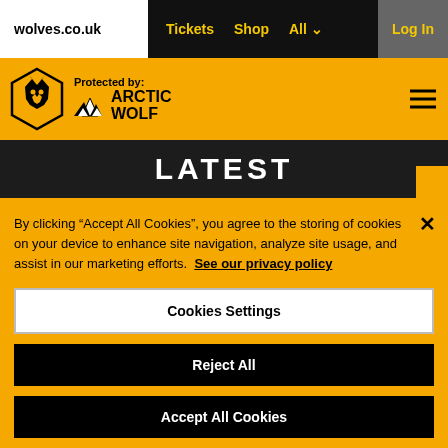wolves.co.uk | Tickets | Shop | All | Log In
[Figure (logo): Wolverhampton Wanderers wolf head crest logo on yellow background with Protected by: Arctic Wolf text and hamburger menu]
[Figure (screenshot): Dark hero banner with LATEST heading in white bold uppercase text]
By clicking “Accept All Cookies”, you agree to the storing of cookies on your device to enhance site navigation, analyze site usage, and assist in our marketing efforts. See our privacy policy
Cookies Settings
Reject All
Accept All Cookies